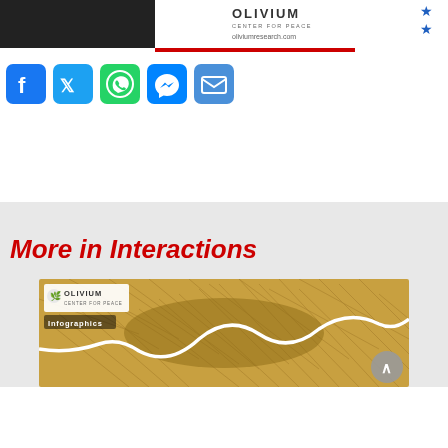[Figure (other): Olivium Center for Peace banner with dark left background, logo text and website oliviumresearch.com, stars on right, red bar at bottom]
[Figure (other): Social media share icons: Facebook (blue), Twitter (blue), WhatsApp (green), Messenger (blue), Email (blue)]
More in Interactions
[Figure (infographic): Olivium infographic thumbnail showing a straw/hay texture with a white line chart overlay and Infographics label]